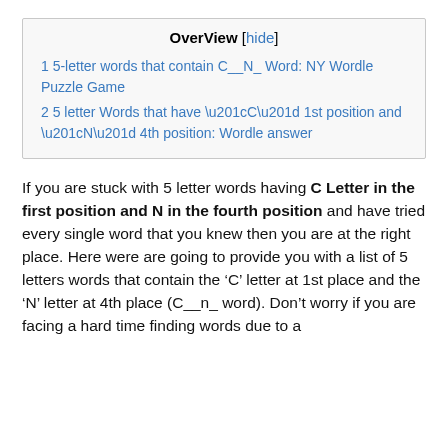| OverView [hide] |
| 1 5-letter words that contain C__N_ Word: NY Wordle Puzzle Game |
| 2 5 letter Words that have “C” 1st position and “N” 4th position: Wordle answer |
If you are stuck with 5 letter words having C Letter in the first position and N in the fourth position and have tried every single word that you knew then you are at the right place. Here were are going to provide you with a list of 5 letters words that contain the ‘C’ letter at 1st place and the ‘N’ letter at 4th place (C__n_ word). Don’t worry if you are facing a hard time finding words due to a